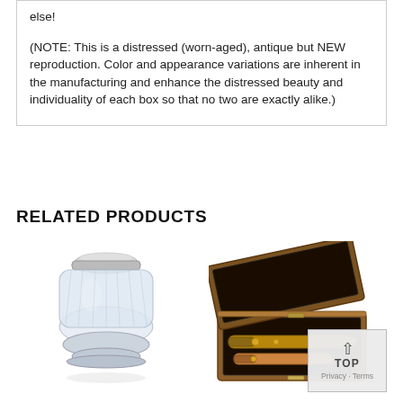else!
(NOTE: This is a distressed (worn-aged), antique but NEW reproduction. Color and appearance variations are inherent in the manufacturing and enhance the distressed beauty and individuality of each box so that no two are exactly alike.)
RELATED PRODUCTS
[Figure (photo): A glass inkwell with a silver metal lid, round and squat shape with ribbed glass body on a pedestal base.]
[Figure (photo): A wooden box open lid showing brass telescope/spyglass instruments inside, with dark velvet lining.]